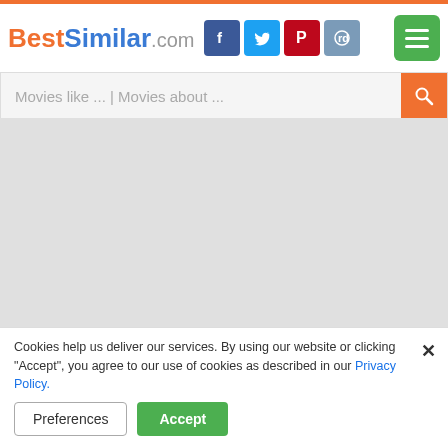BestSimilar.com
Movies like ... | Movies about ...
[Figure (other): Gray advertisement/banner placeholder area]
When I Was Alive (2014)
6.2 rating, 750 votes
Cookies help us deliver our services. By using our website or clicking "Accept", you agree to our use of cookies as described in our Privacy Policy.